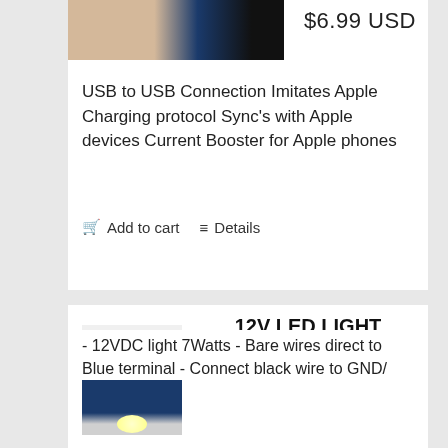[Figure (photo): Product photo of USB to USB adapter/cable device, partially visible at top of card]
$6.99 USD
USB to USB Connection Imitates Apple Charging protocol Sync's with Apple devices Current Booster for Apple phones
Add to cart
Details
[Figure (photo): Photo of a 12V LED light product, blue box-shaped device with a glowing white LED at the bottom]
12V LED LIGHT
$10.99 USD
- 12VDC light 7Watts - Bare wires direct to Blue terminal - Connect black wire to GND/